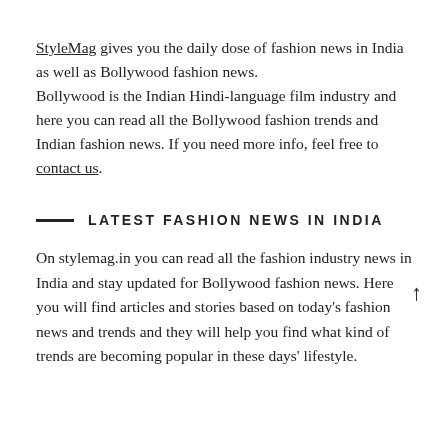StyleMag gives you the daily dose of fashion news in India as well as Bollywood fashion news. Bollywood is the Indian Hindi-language film industry and here you can read all the Bollywood fashion trends and Indian fashion news. If you need more info, feel free to contact us.
LATEST FASHION NEWS IN INDIA
On stylemag.in you can read all the fashion industry news in India and stay updated for Bollywood fashion news. Here you will find articles and stories based on today's fashion news and trends and they will help you find what kind of trends are becoming popular in these days' lifestyle.